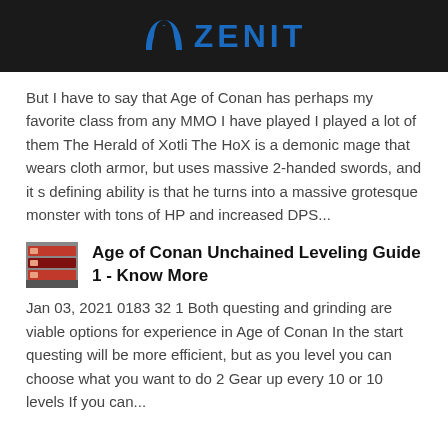ZENIT
But I have to say that Age of Conan has perhaps my favorite class from any MMO I have played I played a lot of them The Herald of Xotli The HoX is a demonic mage that wears cloth armor, but uses massive 2-handed swords, and it s defining ability is that he turns into a massive grotesque monster with tons of HP and increased DPS...
[Figure (photo): Small thumbnail image of a gaming-related item, appears to show red/dark machinery or equipment]
Age of Conan Unchained Leveling Guide 1 - Know More
Jan 03, 2021 0183 32 1 Both questing and grinding are viable options for experience in Age of Conan In the start questing will be more efficient, but as you level you can choose what you want to do 2 Gear up every 10 or 10 levels If you can...